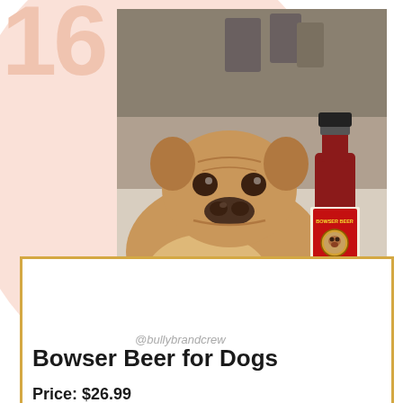16
[Figure (photo): A French Bulldog lying on a light-colored floor, looking at the camera. Next to it is a small bottle of Bowser Beer with a red and yellow label.]
@bullybrandcrew
Bowser Beer for Dogs
Price: $26.99